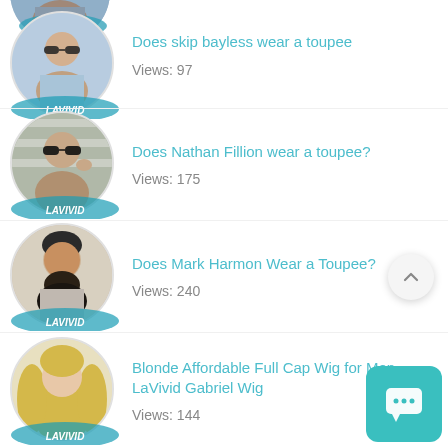[Figure (photo): Partial circular thumbnail with LaVivid badge, top of page (cropped)]
Does skip bayless wear a toupee
Views: 97
Does Nathan Fillion wear a toupee?
Views: 175
Does Mark Harmon Wear a Toupee?
Views: 240
Blonde Affordable Full Cap Wig for Men – LaVivid Gabriel Wig
Views: 144